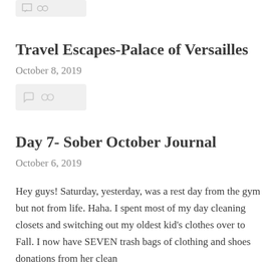[Figure (other): Thumbnail placeholder bar with comment and link icons, gray background]
Travel Escapes-Palace of Versailles
October 8, 2019
[Figure (other): Thumbnail placeholder bar with comment and link icons, gray background]
Day 7- Sober October Journal
October 6, 2019
Hey guys! Saturday, yesterday, was a rest day from the gym but not from life. Haha. I spent most of my day cleaning closets and switching out my oldest kid's clothes over to Fall. I now have SEVEN trash bags of clothing and shoes donations from her clean